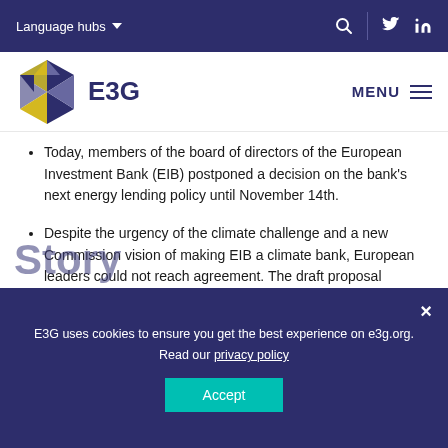Language hubs
[Figure (logo): E3G hexagonal logo with triangular pattern in blue, yellow, navy and grey, with text 'E3G' beside it]
Today, members of the board of directors of the European Investment Bank (EIB) postponed a decision on the bank's next energy lending policy until November 14th.
Despite the urgency of the climate challenge and a new Commission vision of making EIB a climate bank, European leaders could not reach agreement. The draft proposal currently before the Board would entail phasing out fossil fuels by 2020.
Story
E3G uses cookies to ensure you get the best experience on e3g.org. Read our privacy policy
Accept